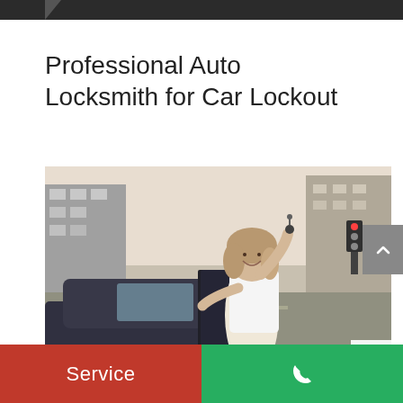Professional Auto Locksmith for Car Lockout
[Figure (photo): Woman in white t-shirt leaning on open car door in urban setting, holding car keys up and smiling at camera]
Service | [phone icon]